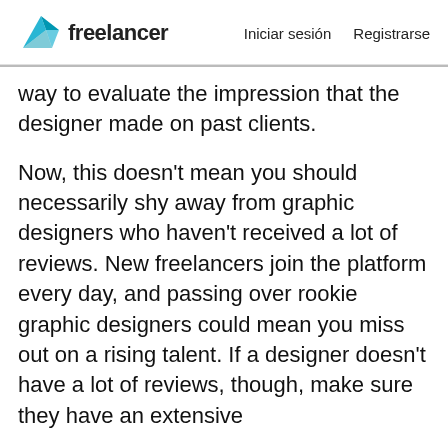freelancer   Iniciar sesión   Registrarse
way to evaluate the impression that the designer made on past clients.
Now, this doesn't mean you should necessarily shy away from graphic designers who haven't received a lot of reviews. New freelancers join the platform every day, and passing over rookie graphic designers could mean you miss out on a rising talent. If a designer doesn't have a lot of reviews, though, make sure they have an extensive